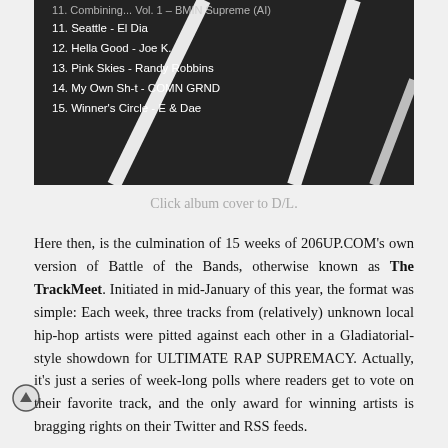[Figure (photo): Album cover showing a dark asphalt road with white lane markings, with a track listing overlaid in white text showing tracks 11-15: Seattle - El Dia, Hella Good - Joe K., Pink Skies - Randy Robbins, My Own Sh-t - COMN GRND, Winner's Circle - E & Dae]
Click album cover to D/L.
Here then, is the culmination of 15 weeks of 206UP.COM's own version of Battle of the Bands, otherwise known as The TrackMeet. Initiated in mid-January of this year, the format was simple: Each week, three tracks from (relatively) unknown local hip-hop artists were pitted against each other in a Gladiatorial-style showdown for ULTIMATE RAP SUPREMACY. Actually, it's just a series of week-long polls where readers get to vote on their favorite track, and the only award for winning artists is bragging rights on their Twitter and RSS feeds.
In any case, all of the entrants involved put in good work and